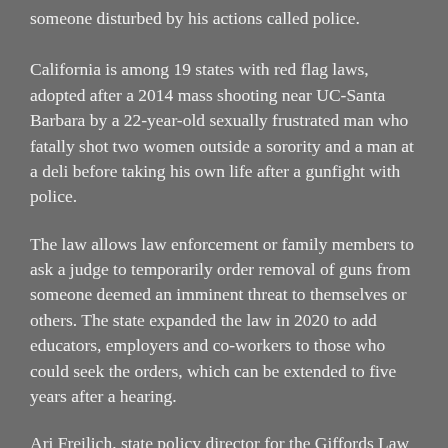someone disturbed by his actions called police.
California is among 19 states with red flag laws, adopted after a 2014 mass shooting near UC-Santa Barbara by a 22-year-old sexually frustrated man who fatally shot two women outside a sorority and a man at a deli before taking his own life after a gunfight with police.
The law allows law enforcement or family members to ask a judge to temporarily order removal of guns from someone deemed an imminent threat to themselves or others. The state expanded the law in 2020 to add educators, employers and co-workers to those who could seek the orders, which can be extended to five years after a hearing.
Ari Freilich, state policy director for the Giffords Law Center to Prevent Gun Violence, said California was "the first in the nation to pass a robust extreme risk protection law" that he said has allowed courts to disarm people in crisis.